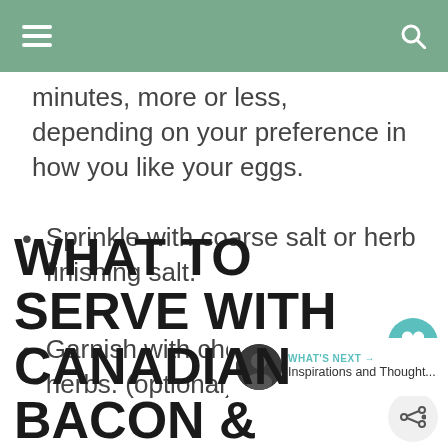Navigation bar with menu and search icons
minutes, more or less, depending on your preference in how you like your eggs.
Sprinkle with coarse salt or herb finishing salt.
Garnish with chopped fresh herbs. (optional)
WHAT TO SERVE WITH CANADIAN BACON &